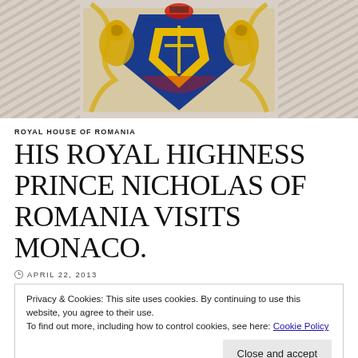[Figure (illustration): Romanian Royal coat of arms centered on a decorative diagonal-striped background, gold and blue heraldic shield with lions, flanked by gray diagonal stripe patterns on left and right]
ROYAL HOUSE OF ROMANIA
HIS ROYAL HIGHNESS PRINCE NICHOLAS OF ROMANIA VISITS MONACO.
APRIL 22, 2013
Privacy & Cookies: This site uses cookies. By continuing to use this website, you agree to their use.
To find out more, including how to control cookies, see here: Cookie Policy
Close and accept